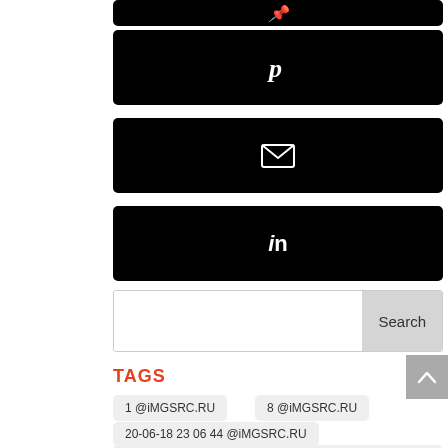[Figure (screenshot): Black button with Pinterest P icon]
[Figure (screenshot): Black button with email/envelope icon]
[Figure (screenshot): Black button with LinkedIn 'in' icon]
[Figure (screenshot): Search bar with Search button]
TAGS
1 @iMGSRC.RU
8 @iMGSRC.RU
20-06-18 23 06 44 @iMGSRC.RU
61F6EDB3-DC35-4678-9DE7-CF8F66EE @iMGSRC.RU
2020